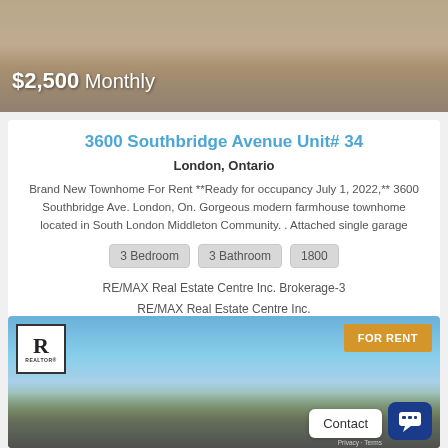[Figure (photo): Top portion of a sandy/earthy textured surface with a price overlay showing $2,500 Monthly]
$2,500 Monthly
3600 Southbridge Avenue Unit# 34
London, Ontario
Brand New Townhome For Rent **Ready for occupancy July 1, 2022,** 3600 Southbridge Ave. London, On. Gorgeous modern farmhouse townhome located in South London Middleton Community. . Attached single garage
3 Bedroom
3 Bathroom
1800
RE/MAX Real Estate Centre Inc. Brokerage-3
RE/MAX Real Estate Centre Inc.
[Figure (photo): Exterior photo of a modern farmhouse townhome with blue sky background, REALTOR logo badge top-left, FOR RENT badge top-right, Contact button and chat button bottom-right]